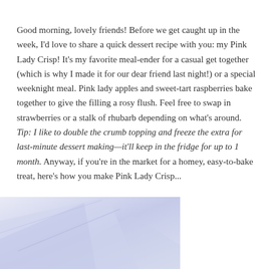Good morning, lovely friends! Before we get caught up in the week, I'd love to share a quick dessert recipe with you: my Pink Lady Crisp! It's my favorite meal-ender for a casual get together (which is why I made it for our dear friend last night!) or a special weeknight meal. Pink lady apples and sweet-tart raspberries bake together to give the filling a rosy flush. Feel free to swap in strawberries or a stalk of rhubarb depending on what's around. Tip: I like to double the crumb topping and freeze the extra for last-minute dessert making—it'll keep in the fridge for up to 1 month. Anyway, if you're in the market for a homey, easy-to-bake treat, here's how you make Pink Lady Crisp...
[Figure (photo): Partial photo of what appears to be a baked dish or food item, shown at the bottom-left corner of the page with a light lavender/blue-white tint.]